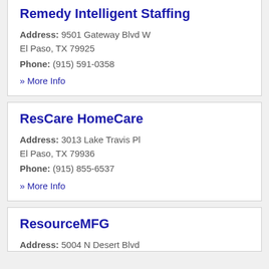Remedy Intelligent Staffing
Address: 9501 Gateway Blvd W El Paso, TX 79925
Phone: (915) 591-0358
» More Info
ResCare HomeCare
Address: 3013 Lake Travis Pl El Paso, TX 79936
Phone: (915) 855-6537
» More Info
ResourceMFG
Address: 5004 N Desert Blvd